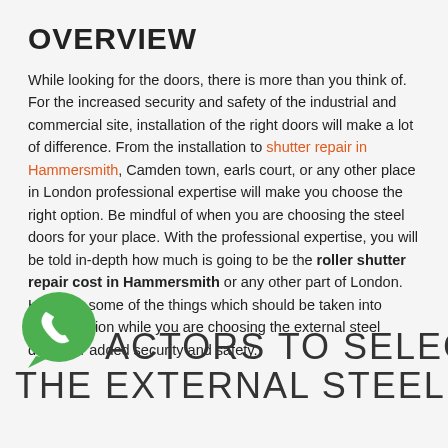OVERVIEW
While looking for the doors, there is more than you think of. For the increased security and safety of the industrial and commercial site, installation of the right doors will make a lot of difference. From the installation to shutter repair in Hammersmith, Camden town, earls court, or any other place in London professional expertise will make you choose the right option. Be mindful of when you are choosing the steel doors for your place. With the professional expertise, you will be told in-depth how much is going to be the roller shutter repair cost in Hammersmith or any other part of London. Here are some of the things which should be taken into consideration while you are choosing the external steel doors for added security and safety.
[Figure (logo): WhatsApp green phone icon/logo]
ACTORS TO SELECT THE EXTERNAL STEEL